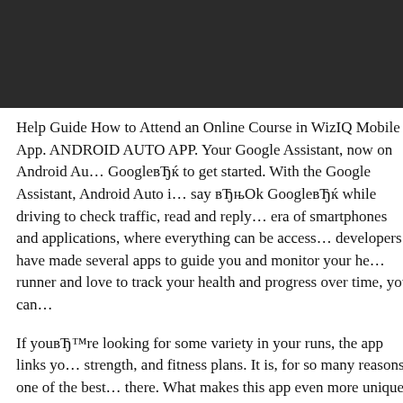[Figure (other): Dark/black header bar at the top of the page]
Help Guide How to Attend an Online Course in WizIQ Mobile App. ANDROID AUTO APP. Your Google Assistant, now on Android Au… GoogleвЂѓі to get started. With the Google Assistant, Android Auto i… say вЂœOk GoogleвЂѓі while driving to check traffic, read and reply… era of smartphones and applications, where everything can be access… developers have made several apps to guide you and monitor your he… runner and love to track your health and progress over time, you can…
If youвЂ™re looking for some variety in your runs, the app links yo… strength, and fitness plans. It is, for so many reasons, one of the best… there. What makes this app even more unique is that it colors your ro… slow down. 5/1/2017В В· See Amazfit Pace watch Setup Guide - the… with a capacitive touch screen, convenient sporty design and many u… rate sensor, built-in GPS, info
It moves slowly too, because everybody has to gather up around o…